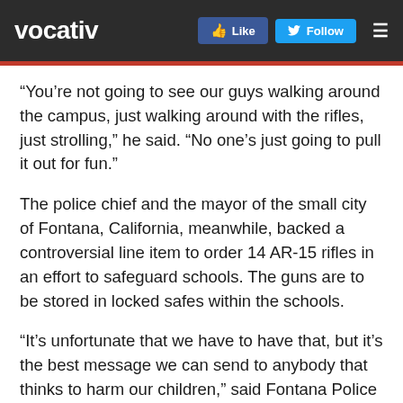vocativ
“You’re not going to see our guys walking around the campus, just walking around with the rifles, just strolling,” he said. “No one’s just going to pull it out for fun.”
The police chief and the mayor of the small city of Fontana, California, meanwhile, backed a controversial line item to order 14 AR-15 rifles in an effort to safeguard schools. The guns are to be stored in locked safes within the schools.
“It’s unfortunate that we have to have that, but it’s the best message we can send to anybody that thinks to harm our children,” said Fontana Police Chief Rodney Jones. “The message we’re sending is, not